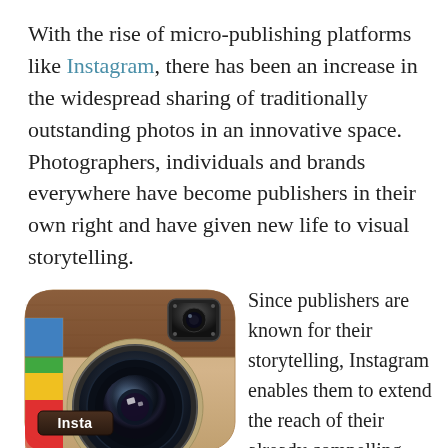With the rise of micro-publishing platforms like Instagram, there has been an increase in the widespread sharing of traditionally outstanding photos in an innovative space. Photographers, individuals and brands everywhere have become publishers in their own right and have given new life to visual storytelling.
[Figure (logo): Instagram app logo showing a camera icon with leather-textured brown background, colorful stripe on left (red, yellow, green, blue), viewfinder square in upper right, large camera lens in center, and 'Insta' text label at bottom left]
Since publishers are known for their storytelling, Instagram enables them to extend the reach of their already compelling work. It offers a new